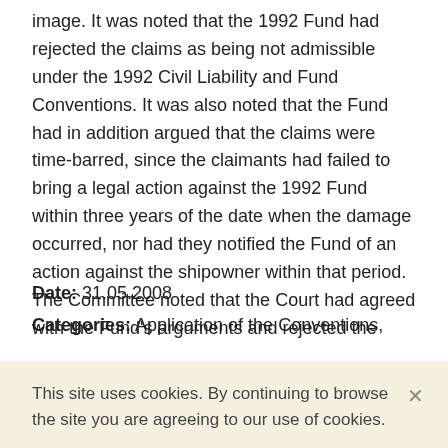image. It was noted that the 1992 Fund had rejected the claims as being not admissible under the 1992 Civil Liability and Fund Conventions. It was also noted that the Fund had in addition argued that the claims were time-barred, since the claimants had failed to bring a legal action against the 1992 Fund within three years of the date when the damage occurred, nor had they notified the Fund of an action against the shipowner within that period. The Committee noted that the Court had agreed with the Fund's arguments and rejected the claims.
Date: 31.05.2008
Categories: Application of the Conventions, Legal actions,
This site uses cookies. By continuing to browse the site you are agreeing to our use of cookies.